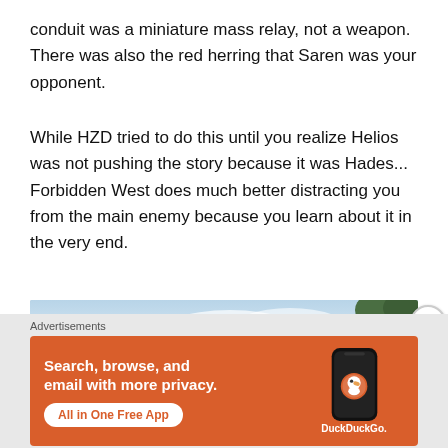conduit was a miniature mass relay, not a weapon. There was also the red herring that Saren was your opponent.
While HZD tried to do this until you realize Helios was not pushing the story because it was Hades... Forbidden West does much better distracting you from the main enemy because you learn about it in the very end.
[Figure (photo): Partial view of a character or scene from a video game, showing a figure against a cloudy sky with trees in the background.]
Advertisements
[Figure (infographic): DuckDuckGo advertisement banner on orange/red background. Text reads: Search, browse, and email with more privacy. All in One Free App. Shows a smartphone with DuckDuckGo logo.]